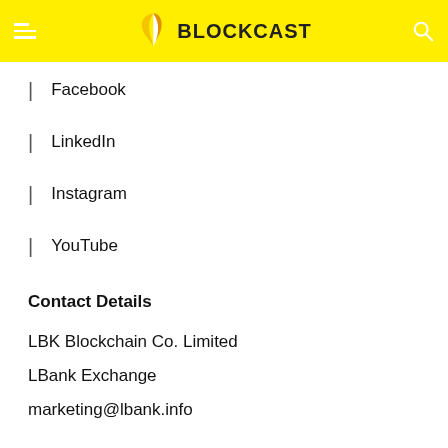BLOCKCAST
Facebook
LinkedIn
Instagram
YouTube
Contact Details
LBK Blockchain Co. Limited
LBank Exchange
marketing@lbank.info